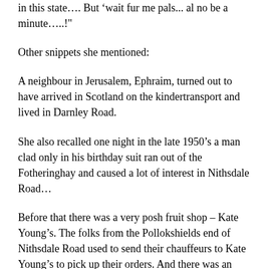in this state…. But 'wait fur me pals... al no be a minute…..!"
Other snippets she mentioned:
A neighbour in Jerusalem, Ephraim, turned out to have arrived in Scotland on the kindertransport and lived in Darnley Road.
She also recalled one night in the late 1950's a man clad only in his birthday suit ran out of the Fotheringhay and caused a lot of interest in Nithsdale Road…
Before that there was a very posh fruit shop – Kate Young's. The folks from the Pollokshields end of Nithsdale Road used to send their chauffeurs to Kate Young's to pick up their orders. And there was an